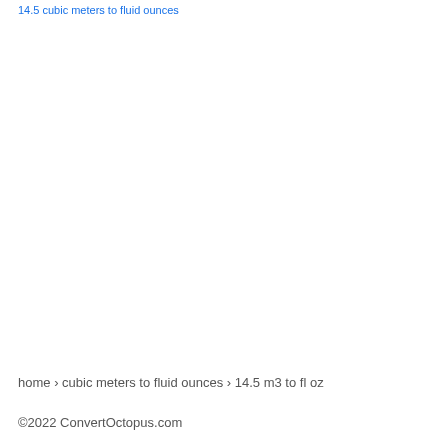14.5 cubic meters to fluid ounces
home › cubic meters to fluid ounces › 14.5 m3 to fl oz
©2022 ConvertOctopus.com